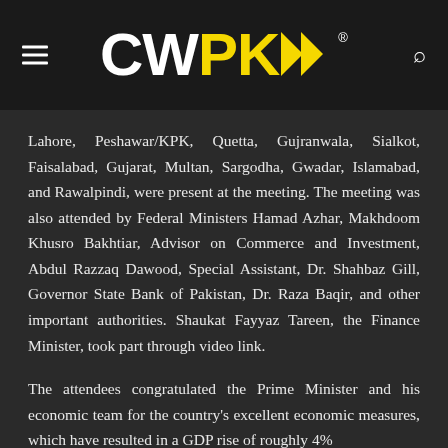CWPK
Lahore, Peshawar/KPK, Quetta, Gujranwala, Sialkot, Faisalabad, Gujarat, Multan, Sargodha, Gwadar, Islamabad, and Rawalpindi, were present at the meeting. The meeting was also attended by Federal Ministers Hamad Azhar, Makhdoom Khusro Bakhtiar, Advisor on Commerce and Investment, Abdul Razzaq Dawood, Special Assistant, Dr. Shahbaz Gill, Governor State Bank of Pakistan, Dr. Raza Baqir, and other important authorities. Shaukat Fayyaz Tareen, the Finance Minister, took part through video link.
The attendees congratulated the Prime Minister and his economic team for the country's excellent economic measures, which have resulted in a GDP rise of roughly 4%